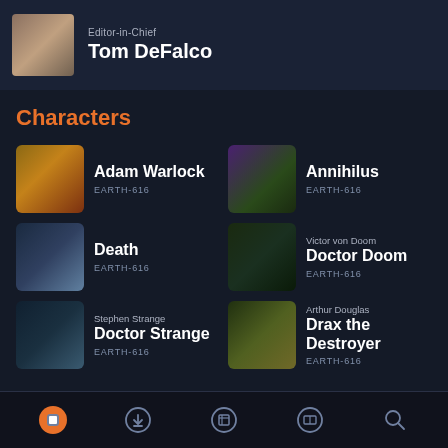[Figure (photo): Photo of Tom DeFalco, Editor-in-Chief]
Editor-in-Chief
Tom DeFalco
Characters
[Figure (illustration): Adam Warlock character art]
Adam Warlock
EARTH-616
[Figure (illustration): Annihilus character art]
Annihilus
EARTH-616
[Figure (illustration): Death character art]
Death
EARTH-616
[Figure (illustration): Doctor Doom character art - Victor von Doom]
Victor von Doom
Doctor Doom
EARTH-616
[Figure (illustration): Doctor Strange character art - Stephen Strange]
Stephen Strange
Doctor Strange
EARTH-616
[Figure (illustration): Drax the Destroyer character art - Arthur Douglas]
Arthur Douglas
Drax the Destroyer
EARTH-616